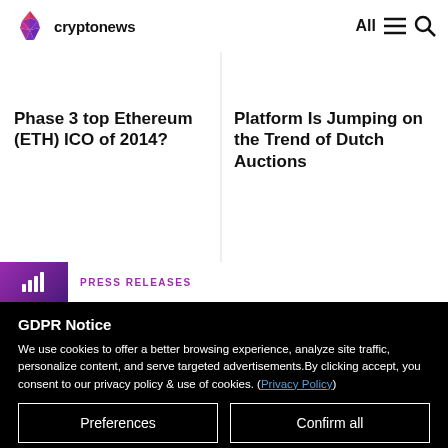cryptonews | All
Phase 3 top Ethereum (ETH) ICO of 2014?
Platform Is Jumping on the Trend of Dutch Auctions
PRESS RELEASES
GDPR Notice
We use cookies to offer a better browsing experience, analyze site traffic, personalize content, and serve targeted advertisements.By clicking accept, you consent to our privacy policy & use of cookies. (Privacy Policy)
Preferences
Confirm all